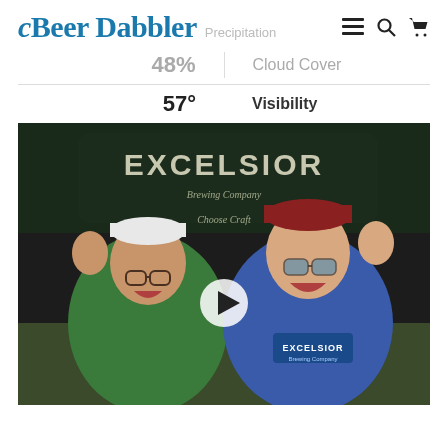Beer Dabbler Precipitation
48%   Cloud Cover
57°   Visibility
[Figure (photo): Two smiling women waving in front of an Excelsior Brewing Company banner at an outdoor event. One wears a green shirt and white cap; the other wears a blue Excelsior shirt and red cap. A video play button overlay is visible in the center of the image.]